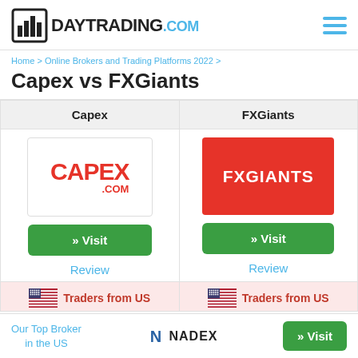[Figure (logo): DayTrading.com logo with bar chart icon]
Home > Online Brokers and Trading Platforms 2022 >
Capex vs FXGiants
| Capex | FXGiants |
| --- | --- |
| [Capex logo] >> Visit | Review | [FXGiants logo] >> Visit | Review |
| 🇺🇸 Traders from US | 🇺🇸 Traders from US |
Our Top Broker in the US
[Figure (logo): Nadex logo]
» Visit